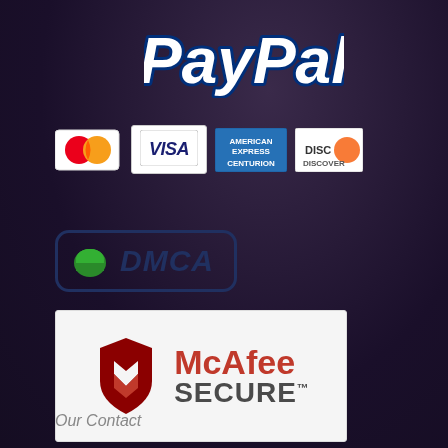[Figure (logo): PayPal logo in white italic bold text with dark blue outline/shadow]
[Figure (logo): Payment method logos: Mastercard, Visa, American Express, Discover]
[Figure (logo): DMCA badge with green shield icon and dark blue DMCA text in rounded rectangle border]
[Figure (logo): McAfee SECURE badge on white/light gray background with red shield logo and McAfee SECURE text]
Our Contact